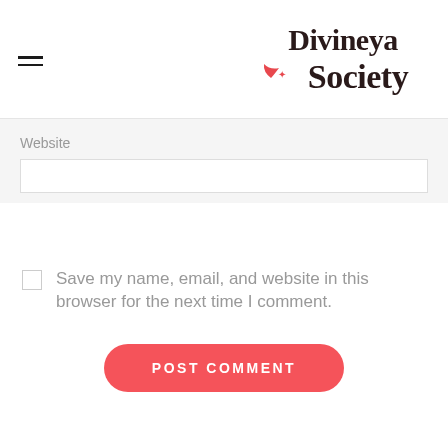[Figure (logo): Divineya Society logo with crescent moon and star in red, text in dark brown serif font]
Website
Save my name, email, and website in this browser for the next time I comment.
POST COMMENT